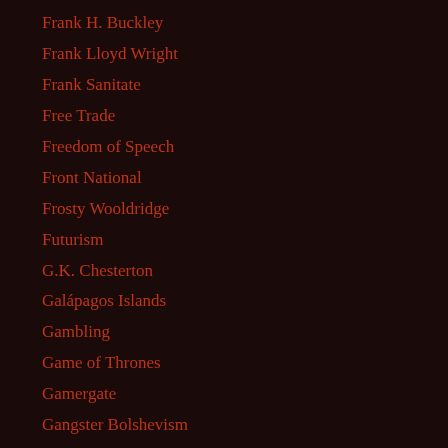Frank H. Buckley
Frank Lloyd Wright
Frank Sanitate
Free Trade
Freedom of Speech
Front National
Frosty Wooldridge
Futurism
G.K. Chesterton
Galápagos Islands
Gambling
Game of Thrones
Gamergate
Gangster Bolshevism
Gar Alperovitz